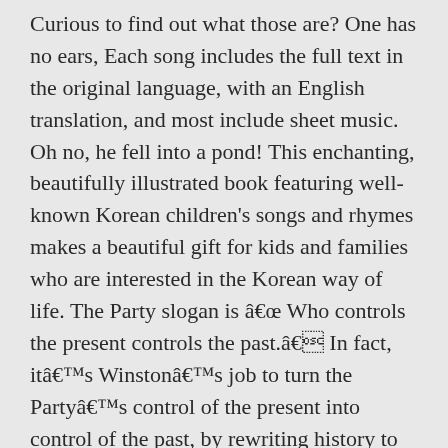Curious to find out what those are? One has no ears, Each song includes the full text in the original language, with an English translation, and most include sheet music. Oh no, he fell into a pond! This enchanting, beautifully illustrated book featuring well-known Korean children's songs and rhymes makes a beautiful gift for kids and families who are interested in the Korean way of life. The Party slogan is â Who controls the present controls the past.â In fact, itâs Winstonâs job to turn the Partyâs control of the present into control of the past, by rewriting history to conform to the Partyâs changing needs. Popular Nursery Rhymes â¢ å° ç å â¢